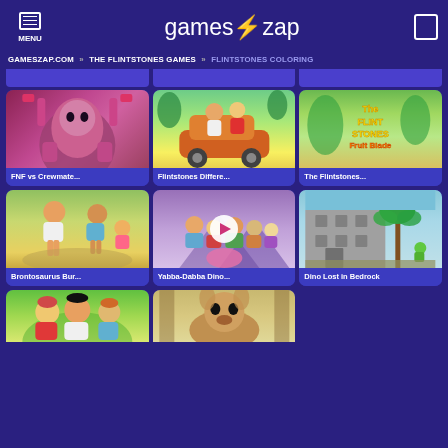MENU | gameszap | [search]
GAMESZAP.COM » THE FLINTSTONES GAMES » FLINTSTONES COLORING
[Figure (screenshot): Game thumbnail: FNF vs Crewmate]
FNF vs Crewmate...
[Figure (screenshot): Game thumbnail: Flintstones Differe...]
Flintstones Differe...
[Figure (screenshot): Game thumbnail: The Flintstones Fruit Blade]
The Flintstones...
[Figure (screenshot): Game thumbnail: Brontosaurus Bur...]
Brontosaurus Bur...
[Figure (screenshot): Game thumbnail: Yabba-Dabba Dino... with play button]
Yabba-Dabba Dino...
[Figure (screenshot): Game thumbnail: Dino Lost in Bedrock]
Dino Lost in Bedrock
[Figure (screenshot): Partial game thumbnail row - Flintstones characters]
[Figure (screenshot): Partial game thumbnail row - animal character]